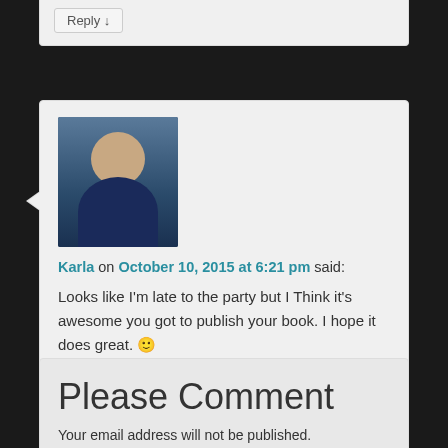Reply ↓
[Figure (photo): Profile photo of Karla, a woman with sunglasses and dark hair wearing a dark blue top]
Karla on October 10, 2015 at 6:21 pm said:
Looks like I'm late to the party but I Think it's awesome you got to publish your book. I hope it does great. 🙂
★ Like
Reply ↓
Please Comment
Your email address will not be published.